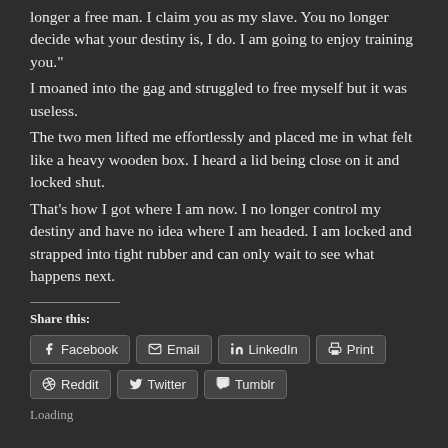longer a free man. I claim you as my slave. You no longer decide what your destiny is, I do. I am going to enjoy training you."
I moaned into the gag and struggled to free myself but it was useless.
The two men lifted me effortlessly and placed me in what felt like a heavy wooden box. I heard a lid being close on it and locked shut.
That's how I got where I am now. I no longer control my destiny and have no idea where I am headed. I am locked and strapped into tight rubber and can only wait to see what happens next.
Share this:
Facebook Email LinkedIn Print Reddit Twitter Tumblr
Loading